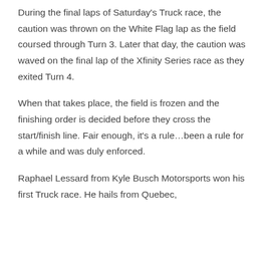During the final laps of Saturday's Truck race, the caution was thrown on the White Flag lap as the field coursed through Turn 3. Later that day, the caution was waved on the final lap of the Xfinity Series race as they exited Turn 4.
When that takes place, the field is frozen and the finishing order is decided before they cross the start/finish line. Fair enough, it's a rule…been a rule for a while and was duly enforced.
Raphael Lessard from Kyle Busch Motorsports won his first Truck race. He hails from Quebec,